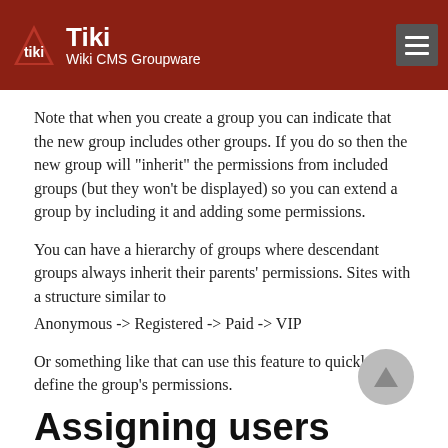Tiki Wiki CMS Groupware
Note that when you create a group you can indicate that the new group includes other groups. If you do so then the new group will "inherit" the permissions from included groups (but they won't be displayed) so you can extend a group by including it and adding some permissions.
You can have a hierarchy of groups where descendant groups always inherit their parents' permissions. Sites with a structure similar to
Anonymous -> Registered -> Paid -> VIP
Or something like that can use this feature to quickly define the group's permissions.
Assigning users